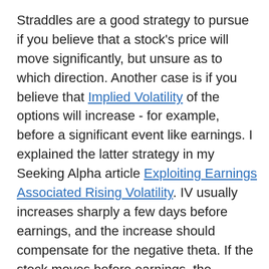Straddles are a good strategy to pursue if you believe that a stock's price will move significantly, but unsure as to which direction. Another case is if you believe that Implied Volatility of the options will increase - for example, before a significant event like earnings. I explained the latter strategy in my Seeking Alpha article Exploiting Earnings Associated Rising Volatility. IV usually increases sharply a few days before earnings, and the increase should compensate for the negative theta. If the stock moves before earnings, the position can be sold for a profit or rolled to new strikes. This is one of my favorite strategies that we use in our SteadyOptions model portfolio.